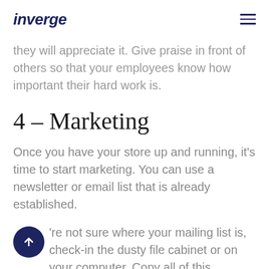inverge
they will appreciate it. Give praise in front of others so that your employees know how important their hard work is.
4 – Marketing
Once you have your store up and running, it's time to start marketing. You can use a newsletter or email list that is already established.
're not sure where your mailing list is, check-in the dusty file cabinet or on your computer. Copy all of this information into a